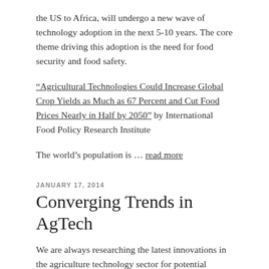the US to Africa, will undergo a new wave of technology adoption in the next 5-10 years. The core theme driving this adoption is the need for food security and food safety.
“Agricultural Technologies Could Increase Global Crop Yields as Much as 67 Percent and Cut Food Prices Nearly in Half by 2050” by International Food Policy Research Institute
The world’s population is … read more
JANUARY 17, 2014
Converging Trends in AgTech
We are always researching the latest innovations in the agriculture technology sector for potential investments